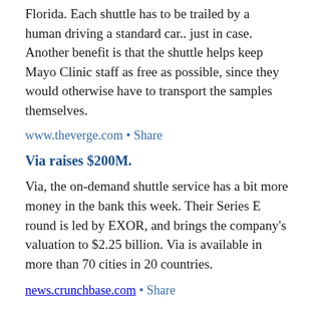Florida. Each shuttle has to be trailed by a human driving a standard car.. just in case. Another benefit is that the shuttle helps keep Mayo Clinic staff as free as possible, since they would otherwise have to transport the samples themselves.
www.theverge.com • Share
Via raises $200M.
Via, the on-demand shuttle service has a bit more money in the bank this week. Their Series E round is led by EXOR, and brings the company's valuation to $2.25 billion. Via is available in more than 70 cities in 20 countries.
news.crunchbase.com • Share